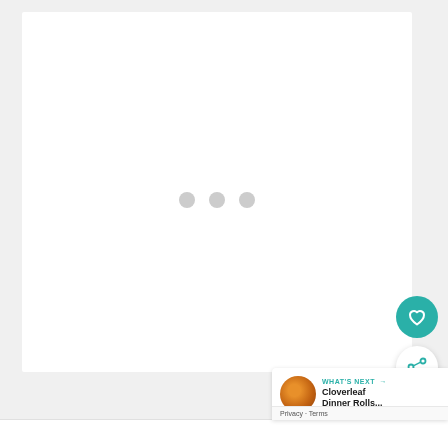[Figure (screenshot): White content area with loading indicator (three dots) in the center, representing a loading state of a webpage or embedded content player.]
[Figure (other): Teal heart/favorite button (circular) on the right side of the page.]
[Figure (other): White circular share button with share icon and plus symbol.]
[Figure (other): What's Next card showing 'Cloverleaf Dinner Rolls...' with a food thumbnail image and teal arrow label.]
Privacy · Terms